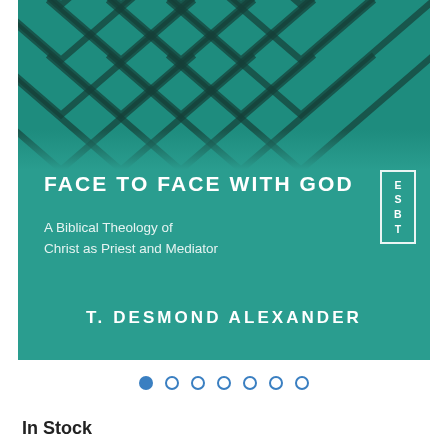[Figure (illustration): Book cover for 'Face to Face with God: A Biblical Theology of Christ as Priest and Mediator' by T. Desmond Alexander. Teal/green background with diagonal chevron stripe pattern at top, ESBT logo in white box at upper right of text area, bold white title text and author name.]
FACE TO FACE WITH GOD
A Biblical Theology of
Christ as Priest and Mediator
T. DESMOND ALEXANDER
[Figure (infographic): Navigation dots row: one filled blue circle followed by six empty blue circle outlines]
In Stock